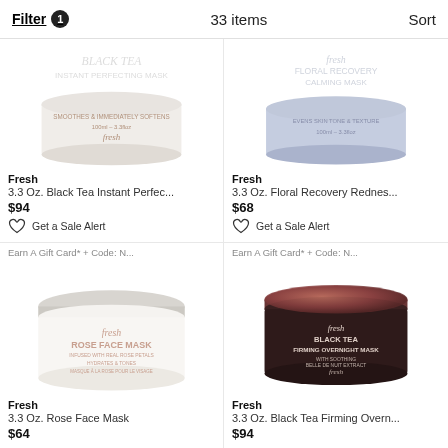Filter 1   33 items   Sort
[Figure (photo): Fresh Black Tea Instant Perfecting Mask jar, white/cream colored, 100ml]
Fresh
3.3 Oz. Black Tea Instant Perfec...
$94
Get a Sale Alert
[Figure (photo): Fresh Floral Recovery Redness Relief Mask jar, light blue/lavender colored, 100ml]
Fresh
3.3 Oz. Floral Recovery Rednes...
$68
Get a Sale Alert
Earn A Gift Card* + Code: N...
[Figure (photo): Fresh Rose Face Mask jar, white with silver lid, 100ml]
Fresh
3.3 Oz. Rose Face Mask
$64
Earn A Gift Card* + Code: N...
[Figure (photo): Fresh Black Tea Firming Overnight Mask jar, dark brown/copper colored, 100ml]
Fresh
3.3 Oz. Black Tea Firming Overn...
$94